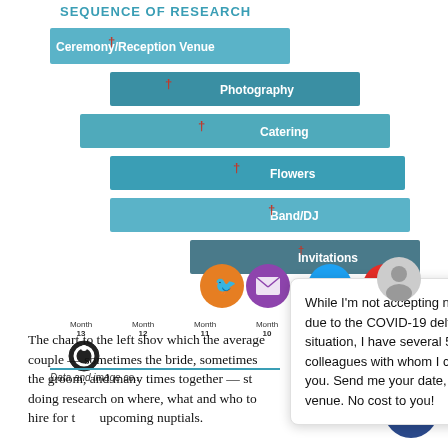SEQUENCE OF RESEARCH
[Figure (bar-chart): Horizontal bar chart showing sequence/timeline of wedding research categories, with social media icons at bottom]
Data and image co...
The chart to the left shows which the average couple — sometimes the bride, sometimes the groom, and many times together — starts doing research on where, what and who to hire for their upcoming nuptials.
While I'm not accepting new bookings due to the COVID-19 delta variant situation, I have several 5-star rated colleagues with whom I can connect you. Send me your date, time, and venue. No cost to you!